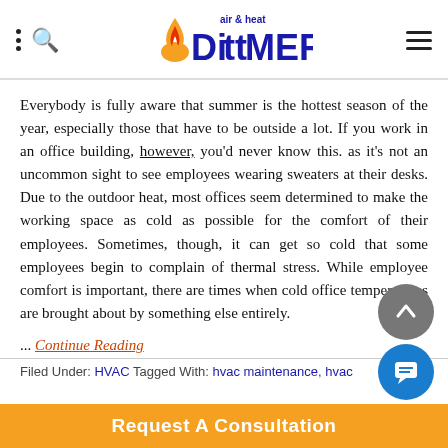Dittmer air & heat — navigation header with logo
Everybody is fully aware that summer is the hottest season of the year, especially those that have to be outside a lot. If you work in an office building, however, you'd never know this. as it's not an uncommon sight to see employees wearing sweaters at their desks. Due to the outdoor heat, most offices seem determined to make the working space as cold as possible for the comfort of their employees. Sometimes, though, it can get so cold that some employees begin to complain of thermal stress. While employee comfort is important, there are times when cold office temperatures are brought about by something else entirely.
... Continue Reading
Filed Under: HVAC Tagged With: hvac maintenance, hvac